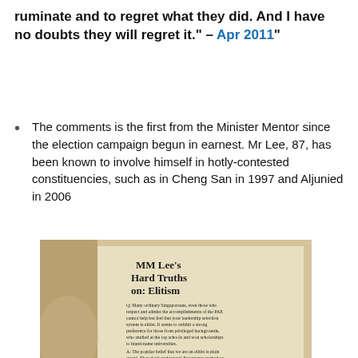ruminate and to regret what they did. And I have no doubts they will regret it." – Apr 2011"
The comments is the first from the Minister Mentor since the election campaign begun in earnest. Mr Lee, 87, has been known to involve himself in hotly-contested constituencies, such as in Cheng San in 1997 and Aljunied in 2006
[Figure (photo): Photograph of a book page showing 'MM Lee's Hard Truths on: Elitism' with text about ordinary Singaporeans, elitism, and meritocracy.]